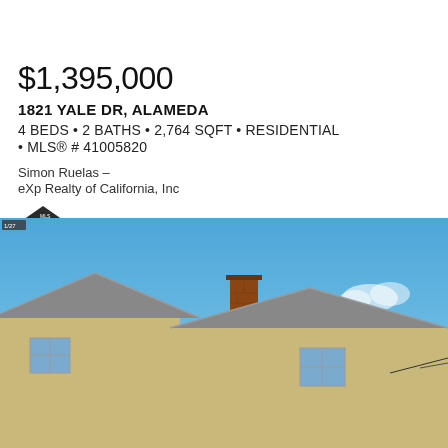$1,395,000
1821 YALE DR, ALAMEDA
4 BEDS • 2 BATHS • 2,764 SQFT • RESIDENTIAL • MLS® # 41005820
Simon Ruelas –
eXp Realty of California, Inc
[Figure (logo): Realtor MLS logo — house icon with colorful pillars (red, yellow, blue, green) and dark roof]
[Figure (photo): Exterior photo of a two-story residential house with tan/yellow stucco siding, gray roof, brick chimney, against a blue sky]